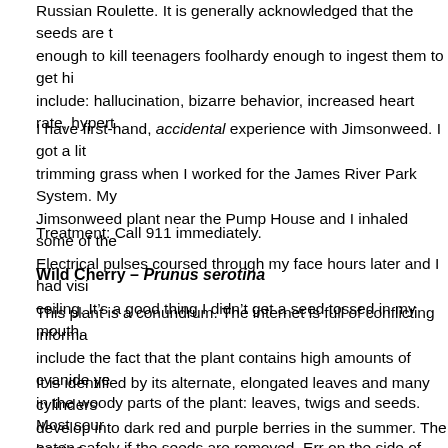Russian Roulette. It is generally acknowledged that the seeds are enough to kill teenagers foolhardy enough to ingest them to get hi include: hallucination, bizarre behavior, increased heart rate, hypert
I have first-hand, accidental experience with Jimsonweed. I got a lit trimming grass when I worked for the James River Park System. My Jimsonweed plant near the Pump House and I inhaled some of the Electrical pulses coursed through my face hours later and I had visi ceiling. It’s a good thing I didn’t get a seed tossed in my mouth.
Treatment: Call 911 immediately.
Wild Cherry – Prunus serotina
This plant is a conundrum. The internet is full of conflicting informa include the fact that the plant contains high amounts of cyanide ye in the woody parts of the plant: leaves, twigs and seeds. Most sour eaten safely if the seeds are removed. Err on the side of caution; if
It is identified by its alternate, elongated leaves and many cylinders develop into dark red and purple berries in the summer. The berries their stems with by a fleshy disc.